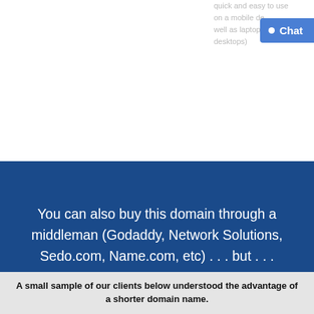quick and easy to use on a mobile device as well as laptops and desktops)
[Figure (other): Blue chat button widget with white dot and 'Chat' label]
You can also buy this domain through a middleman (Godaddy, Network Solutions, Sedo.com, Name.com, etc) . . . but . . .
A small sample of our clients below understood the advantage of a shorter domain name.